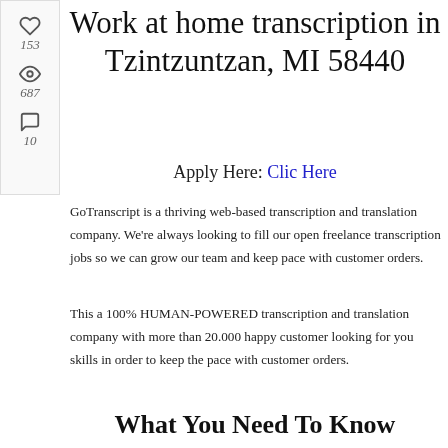Work at home transcription in Tzintzuntzan, MI 58440
Apply Here: Clic Here
GoTranscript is a thriving web-based transcription and translation company. We're always looking to fill our open freelance transcription jobs so we can grow our team and keep pace with customer orders.
This a 100% HUMAN-POWERED transcription and translation company with more than 20.000 happy customer looking for you skills in order to keep the pace with customer orders.
What You Need To Know